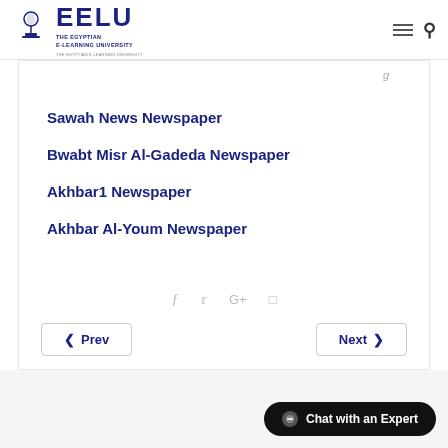EELU — The Egyptian E-Learning University
Sawah News Newspaper
Bwabt Misr Al-Gadeda Newspaper
Akhbar1 Newspaper
Akhbar Al-Youm Newspaper